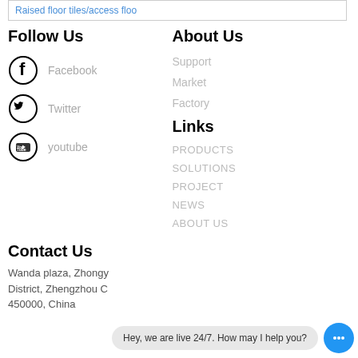Raised floor tiles/access floo
Follow Us
Facebook
Twitter
youtube
About Us
Support
Market
Factory
Links
PRODUCTS
SOLUTIONS
PROJECT
NEWS
ABOUT US
Contact Us
Wanda plaza, Zhongy District, Zhengzhou C 450000, China
Hey, we are live 24/7. How may I help you?